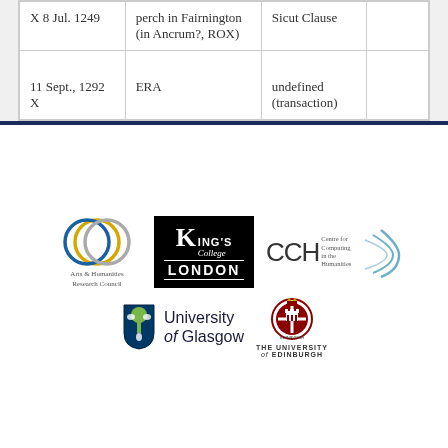| X 8 Jul. 1249 | perch in Fairnington (in Ancrum?, ROX) | Sicut Clause |  |
| 11 Sept., 1292 X | ERA | undefined (transaction) |  |
[Figure (logo): Arts & Humanities Research Council logo with overlapping rings in gold, blue, and grey]
[Figure (logo): King's College London logo — black background with white text]
[Figure (logo): CCH Centre for Computing in the Humanities logo with arc design]
[Figure (logo): University of Glasgow logo with shield and name]
[Figure (logo): The University of Edinburgh logo with crest]